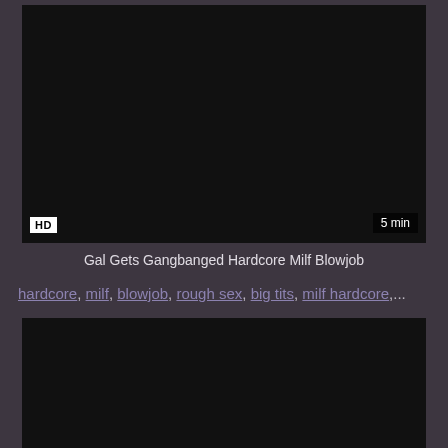[Figure (screenshot): Dark video thumbnail with HD badge bottom-left and '5 min' duration bottom-right]
Gal Gets Gangbanged Hardcore Milf Blowjob
hardcore, milf, blowjob, rough sex, big tits, milf hardcore,...
[Figure (screenshot): Dark video thumbnail partially visible at bottom of page]